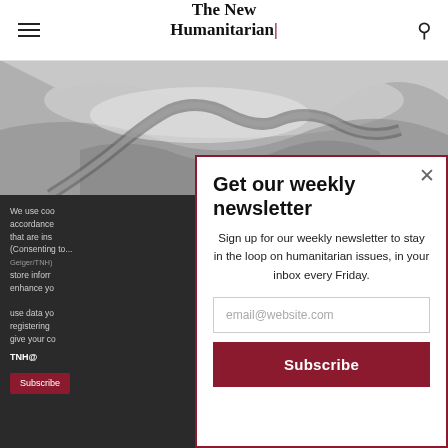The New Humanitarian
[Figure (photo): Aerial black-and-white photograph of a river delta or coastal landscape]
We use cookies in accordance with that are instrumental (Consenting to... Geiger/TNH) store information enhance your use data you are registering give your co
TNH@
Get our weekly newsletter
Sign up for our weekly newsletter to stay in the loop on humanitarian issues, in your inbox every Friday.
email@website.com
Subscribe